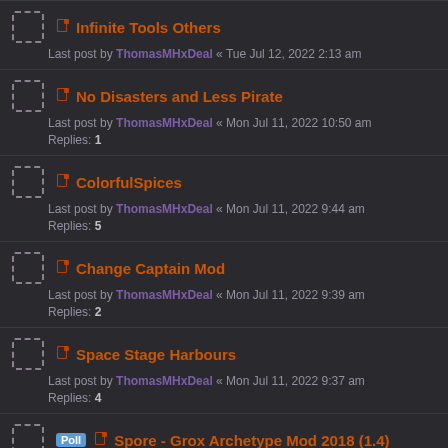Infinite Tools Others - Last post by ThomasMHxDeal « Tue Jul 12, 2022 2:13 am
No Disasters and Less Pirate - Last post by ThomasMHxDeal « Mon Jul 11, 2022 10:50 am - Replies: 1
ColorfulSpices - Last post by ThomasMHxDeal « Mon Jul 11, 2022 9:44 am - Replies: 5
Change Captain Mod - Last post by ThomasMHxDeal « Mon Jul 11, 2022 9:39 am - Replies: 2
Space Stage Harbours - Last post by ThomasMHxDeal « Mon Jul 11, 2022 9:37 am - Replies: 4
Poll - Spore - Grox Archetype Mod 2018 (1.4) - Last post by ThomasMHxDeal « Mon Jul 11, 2022 9:31 am